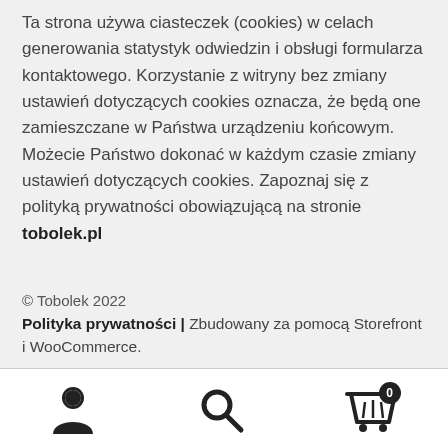Ta strona używa ciasteczek (cookies) w celach generowania statystyk odwiedzin i obsługi formularza kontaktowego. Korzystanie z witryny bez zmiany ustawień dotyczących cookies oznacza, że będą one zamieszczane w Państwa urządzeniu końcowym. Możecie Państwo dokonać w każdym czasie zmiany ustawień dotyczących cookies. Zapoznaj się z polityką prywatności obowiązującą na stronie tobolek.pl
© Tobolek 2022
Polityka prywatności | Zbudowany za pomocą Storefront i WooCommerce.
[Figure (other): Bottom navigation bar with three icons: user/person icon on the left, search/magnifying glass icon in the center, and shopping cart icon with badge showing '0' on the right.]